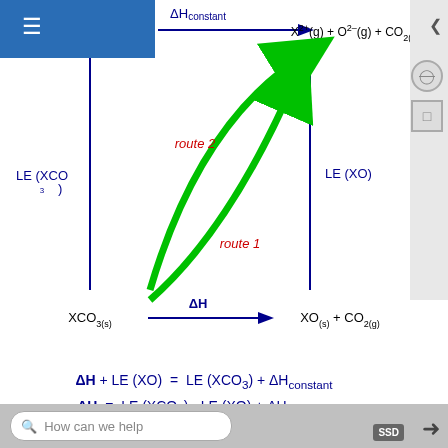[Figure (schematic): Hess's law cycle diagram showing thermochemical routes between XCO3(s), X2+(g)+CO3^2-(g), XO(s)+CO2(g), and X2+(g)+O2-(g)+CO2(g). Two routes (route 1 and route 2) shown in green arrows, with lattice energies LE(XCO3) and LE(XO) shown as blue vertical arrows, and ΔH (blue) and ΔHconstant as horizontal arrows.]
These values both fall as you go down the Group.
For reasons we will look at shortly, the lattice enthalpies of both the oxides and carbonates fall as you go down the Group. But they don't fall at the same
How can we help